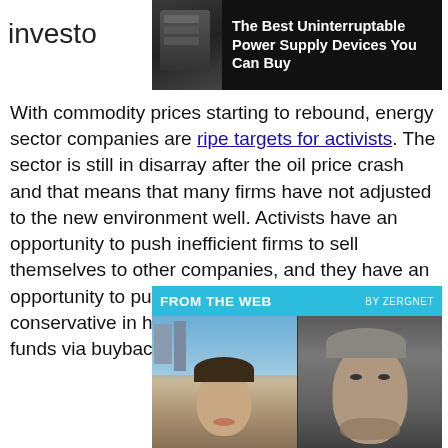investo
[Figure (photo): Advertisement banner: The Best Uninterruptable Power Supply Devices You Can Buy, dark background with device image]
With commodity prices starting to rebound, energy sector companies are ripe targets for activists. The sector is still in disarray after the oil price crash and that means that many firms have not adjusted to the new environment well. Activists have an opportunity to push inefficient firms to sell themselves to other companies, and they have an opportunity to push firms that have become too conservative in hoarding cash to disgorge those funds via buybacks and special dividends.
[Figure (infographic): FROM THE WEB widget by Zergnet, showing two promo images: a young woman smiling outdoors with a cityscape, and an older man with grey hair against a dark background]